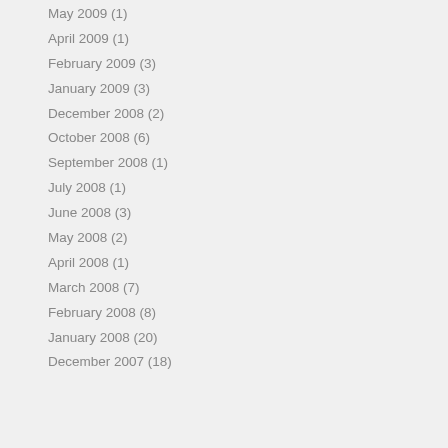May 2009 (1)
April 2009 (1)
February 2009 (3)
January 2009 (3)
December 2008 (2)
October 2008 (6)
September 2008 (1)
July 2008 (1)
June 2008 (3)
May 2008 (2)
April 2008 (1)
March 2008 (7)
February 2008 (8)
January 2008 (20)
December 2007 (18)